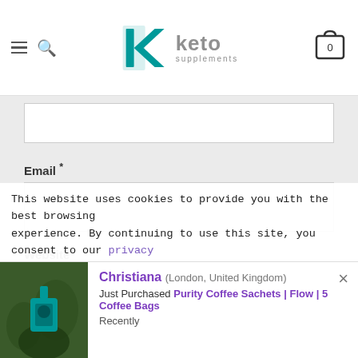Keto Supplements
Email *
Website
POST COMMENT
This website uses cookies to provide you with the best browsing experience. By continuing to use this site, you consent to our privacy
Christiana (London, United Kingdom) Just Purchased Purity Coffee Sachets | Flow | 5 Coffee Bags Recently